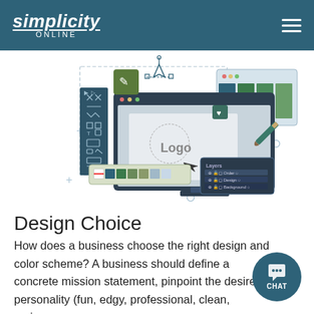simplicity ONLINE
[Figure (illustration): Graphic illustration of web/graphic design tools: a computer monitor displaying a logo design workspace with design tool panels, color swatches, layers panel, pen tool, and color palette widgets, representing digital design and branding.]
Design Choice
How does a business choose the right design and color scheme? A business should define a concrete mission statement, pinpoint the desired personality (fun, edgy, professional, clean, serious,